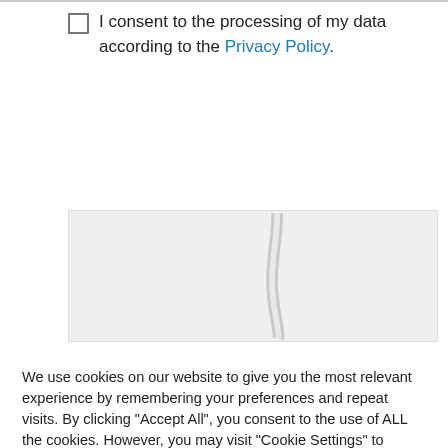I consent to the processing of my data according to the Privacy Policy.
[Figure (screenshot): Send button (teal/blue rounded rectangle) labeled 'Send']
[Figure (map): Partially visible map with a curved road/line visible]
We use cookies on our website to give you the most relevant experience by remembering your preferences and repeat visits. By clicking "Accept All", you consent to the use of ALL the cookies. However, you may visit "Cookie Settings" to provide a controlled consent.
Informativa estesa   Cookie Settings   Accept All   X